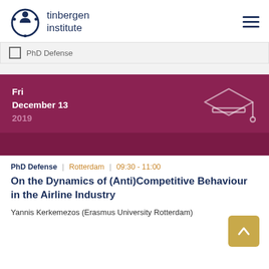tinbergen institute
PhD Defense
Fri
December 13
2019
PhD Defense | Rotterdam | 09:30 - 11:00
On the Dynamics of (Anti)Competitive Behaviour in the Airline Industry
Yannis Kerkemezos (Erasmus University Rotterdam)